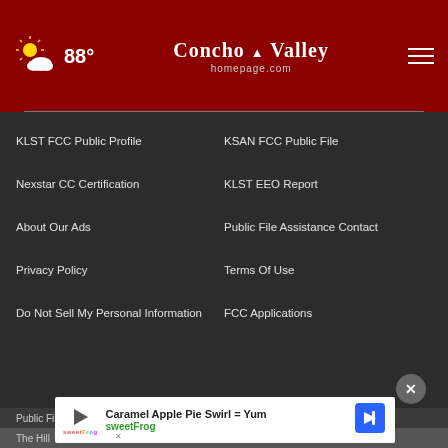88° Concho Valley homepage.com
KLST FCC Public Profile
KSAN FCC Public File
Nexstar CC Certification
KLST EEO Report
About Our Ads
Public File Assistance Contact
Privacy Policy
Terms Of Use
Do Not Sell My Personal Information
FCC Applications
Public File Assistance Contact
The Hill
[Figure (infographic): Advertisement banner for sweetFrog: Caramel Apple Pie Swirl = Yum, sweetFrog branding with navigation icon]